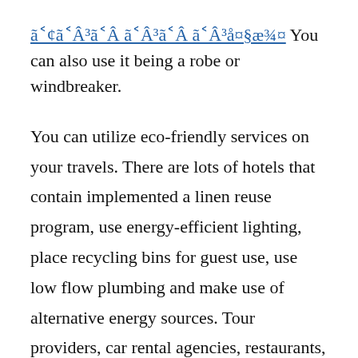ã¢ãÂ³ãÂ ãÂ³ãÂ ãÂ³å¤§æ¾¤ You can also use it being a robe or windbreaker.
You can utilize eco-friendly services on your travels. There are lots of hotels that contain implemented a linen reuse program, use energy-efficient lighting, place recycling bins for guest use, use low flow plumbing and make use of alternative energy sources. Tour providers, car rental agencies, restaurants, and numerous other travel services have